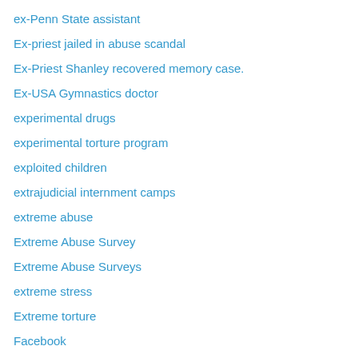ex-Penn State assistant
Ex-priest jailed in abuse scandal
Ex-Priest Shanley recovered memory case.
Ex-USA Gymnastics doctor
experimental drugs
experimental torture program
exploited children
extrajudicial internment camps
extreme abuse
Extreme Abuse Survey
Extreme Abuse Surveys
extreme stress
Extreme torture
Facebook
Facebook internal guidelines
Fairbridge Molong
faith-based abuse
faith-based child abuse
fake news
false abuse allegations